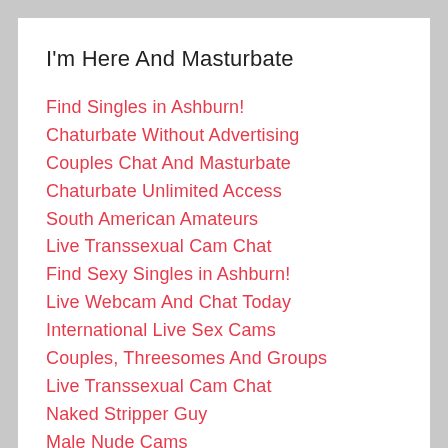I'm Here And Masturbate
Find Singles in Ashburn!
Chaturbate Without Advertising
Couples Chat And Masturbate
Chaturbate Unlimited Access
South American Amateurs
Live Transsexual Cam Chat
Find Sexy Singles in Ashburn!
Live Webcam And Chat Today
International Live Sex Cams
Couples, Threesomes And Groups
Live Transsexual Cam Chat
Naked Stripper Guy
Male Nude Cams